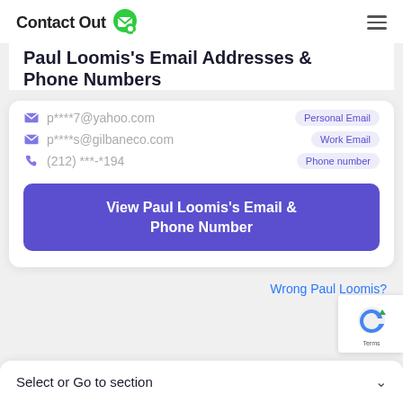ContactOut
Paul Loomis's Email Addresses & Phone Numbers
p****7@yahoo.com  Personal Email
p****s@gilbaneco.com  Work Email
(212) ***-*194  Phone number
View Paul Loomis's Email & Phone Number
Wrong Paul Loomis?
Select or Go to section